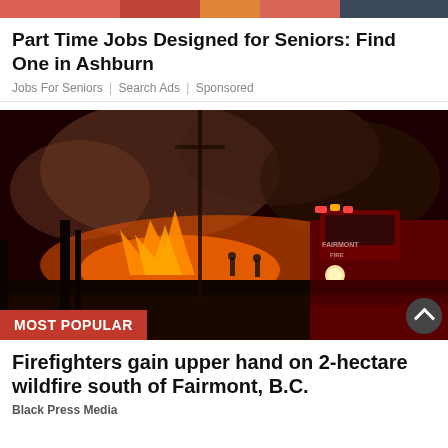[Figure (photo): Colorful banner strip at top of page, appears to be a partial image of advertisements or webpage header with bright colors.]
Part Time Jobs Designed for Seniors: Find One in Ashburn
Jobs For Seniors | Search Ads | Sponsored
[Figure (photo): Nighttime wildfire scene with a dark red fire truck in the foreground, firefighters silhouetted against orange fire and smoke in background. A 'MOST POPULAR' red badge is overlaid at the bottom left.]
Firefighters gain upper hand on 2-hectare wildfire south of Fairmont, B.C.
Black Press Media